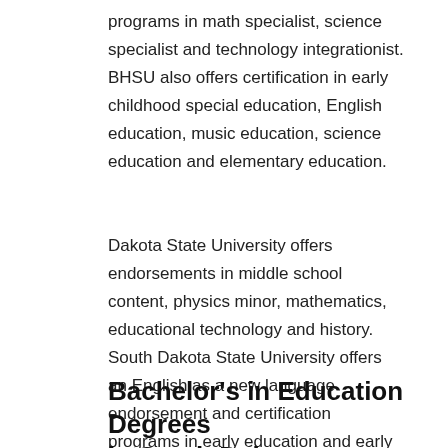programs in math specialist, science specialist and technology integrationist. BHSU also offers certification in early childhood special education, English education, music education, science education and elementary education.
Dakota State University offers endorsements in middle school content, physics minor, mathematics, educational technology and history. South Dakota State University offers an English as a new language endorsement and certification programs in early education and early childhood education.
Bachelor's in Education Degrees in South Dakota